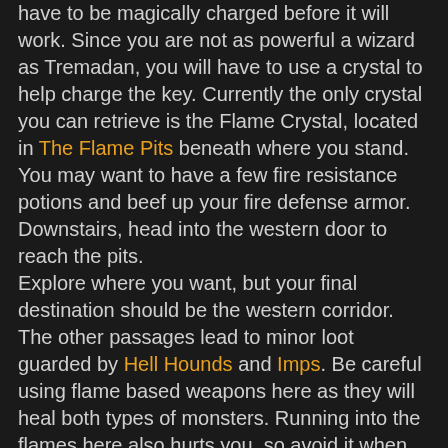have to be magically charged before it will work. Since you are not as powerful a wizard as Tremadan, you will have to use a crystal to help charge the key. Currently the only crystal you can retrieve is the Flame Crystal, located in The Flame Pits beneath where you stand. You may want to have a few fire resistance potions and beef up your fire defense armor. Downstairs, head into the western door to reach the pits.
Explore where you want, but your final destination should be the western corridor. The other passages lead to minor loot guarded by Hell Hounds and Imps. Be careful using flame based weapons here as they will heal both types of monsters. Running into the flames here also hurts you, so avoid it when possible and be quick when its not. As you go west, you will have to work around a line of flames, dealing with Imp fire and Hell Hound bites. Rest up and quaff a resist potion before you head in. Here awaits Zeghast, a unique imp, and two Hell Hounds. Draw them out of the room so they do not get healed by the flames. On the corpse of Zeghast you will find the weapon Crushing Ember and the Crystal of Fire. Head back to the last room and quickly run across the fire to the chests and grab the loot. You're done